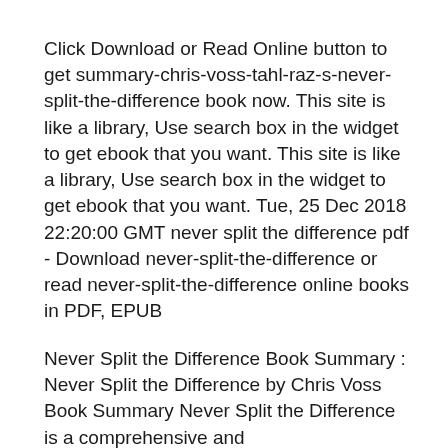Click Download or Read Online button to get summary-chris-voss-tahl-raz-s-never-split-the-difference book now. This site is like a library, Use search box in the widget to get ebook that you want. This site is like a library, Use search box in the widget to get ebook that you want. Tue, 25 Dec 2018 22:20:00 GMT never split the difference pdf - Download never-split-the-difference or read never-split-the-difference online books in PDF, EPUB
Never Split the Difference Book Summary : Never Split the Difference by Chris Voss Book Summary Never Split the Difference is a comprehensive and